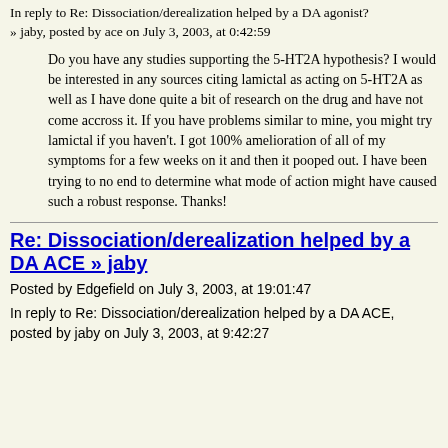In reply to Re: Dissociation/derealization helped by a DA agonist? » jaby, posted by ace on July 3, 2003, at 0:42:59
Do you have any studies supporting the 5-HT2A hypothesis? I would be interested in any sources citing lamictal as acting on 5-HT2A as well as I have done quite a bit of research on the drug and have not come accross it. If you have problems similar to mine, you might try lamictal if you haven't. I got 100% amelioration of all of my symptoms for a few weeks on it and then it pooped out. I have been trying to no end to determine what mode of action might have caused such a robust response. Thanks!
Re: Dissociation/derealization helped by a DA ACE » jaby
Posted by Edgefield on July 3, 2003, at 19:01:47
In reply to Re: Dissociation/derealization helped by a DA ACE, posted by jaby on July 3, 2003, at 9:42:27